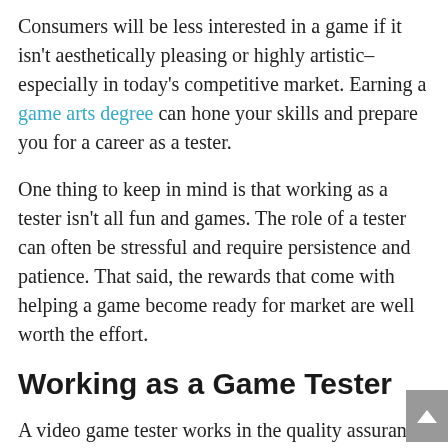Consumers will be less interested in a game if it isn't aesthetically pleasing or highly artistic–especially in today's competitive market. Earning a game arts degree can hone your skills and prepare you for a career as a tester.
One thing to keep in mind is that working as a tester isn't all fun and games. The role of a tester can often be stressful and require persistence and patience. That said, the rewards that come with helping a game become ready for market are well worth the effort.
Working as a Game Tester
A video game tester works in the quality assurance role in the overall game development process. Although most of the